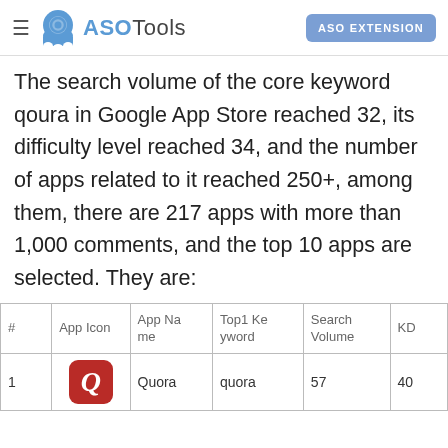ASOTools — ASO EXTENSION
The search volume of the core keyword qoura in Google App Store reached 32, its difficulty level reached 34, and the number of apps related to it reached 250+, among them, there are 217 apps with more than 1,000 comments, and the top 10 apps are selected. They are:
| # | App Icon | App Name | Top1 Keyword | Search Volume | KD |
| --- | --- | --- | --- | --- | --- |
| 1 | Q | Quora | quora | 57 | 40 |